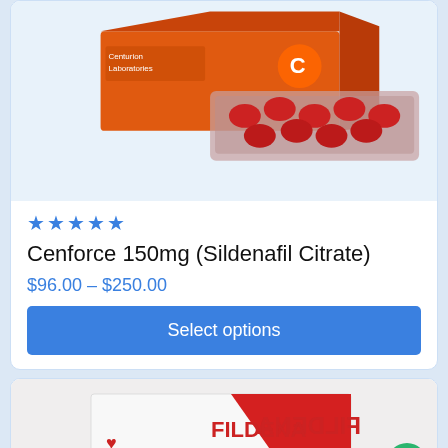[Figure (photo): Orange box of Cenforce Laboratories medication with red oval pills in a blister pack]
★★★★★
Cenforce 150mg (Sildenafil Citrate)
$96.00 – $250.00
Select options
[Figure (photo): White and red box of Fildena medication with blister pack visible at bottom]